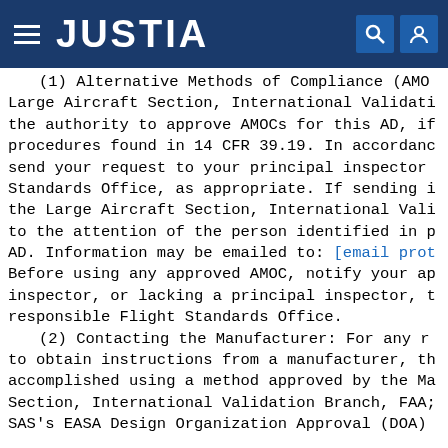JUSTIA
(1) Alternative Methods of Compliance (AMOCs): The Manager, Large Aircraft Section, International Validation Branch, ANM-116, has the authority to approve AMOCs for this AD, if requested using the procedures found in 14 CFR 39.19. In accordance with 14 CFR 39.19, send your request to your principal inspector or local Flight Standards Office, as appropriate. If sending information directly to the Large Aircraft Section, International Validation Branch, send it to the attention of the person identified in paragraph (k) of this AD. Information may be emailed to: [email protected]. Before using any approved AMOC, notify your appropriate principal inspector, or lacking a principal inspector, the manager of the responsible Flight Standards Office.
(2) Contacting the Manufacturer: For any requirement in this AD to obtain instructions from a manufacturer, the instructions must be accomplished using a method approved by the Manager, Large Aircraft Section, International Validation Branch, FAA; or Scandinavian Airlines SAS's EASA Design Organization Approval (DOA).